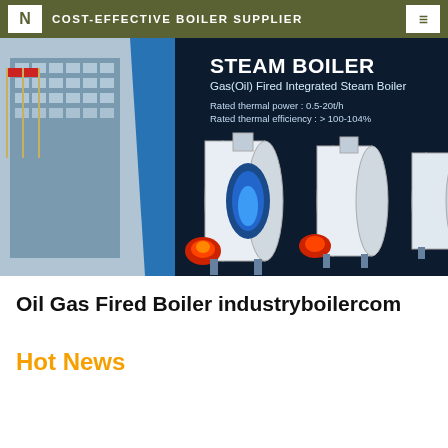COST-EFFECTIVE BOILER SUPPLIER
[Figure (photo): Banner image showing industrial steam boilers (Gas/Oil Fired Integrated Steam Boiler) on a dark background with a building and flagpoles on the left. Text overlay: STEAM BOILER, Gas(Oil) Fired Integrated Steam Boiler, Rated thermal power: 0.5-20t/h, Rated thermal efficiency: > 100-104%]
Oil Gas Fired Boiler industryboilercom
Hot News